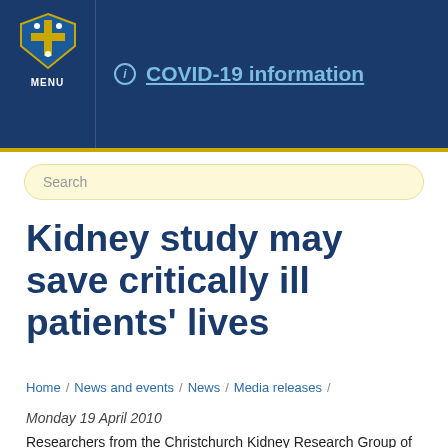COVID-19 information
Kidney study may save critically ill patients' lives
Home / News and events / News / Media releases /
Monday 19 April 2010
Researchers from the Christchurch Kidney Research Group of